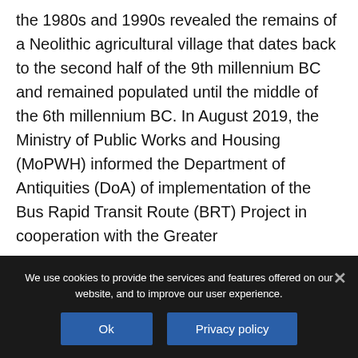the 1980s and 1990s revealed the remains of a Neolithic agricultural village that dates back to the second half of the 9th millennium BC and remained populated until the middle of the 6th millennium BC. In August 2019, the Ministry of Public Works and Housing (MoPWH) informed the Department of Antiquities (DoA) of implementation of the Bus Rapid Transit Route (BRT) Project in cooperation with the Greater
We use cookies to provide the services and features offered on our website, and to improve our user experience.